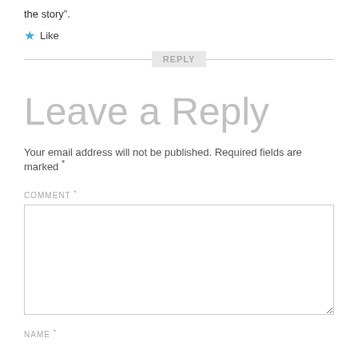the story".
★ Like
Leave a Reply
Your email address will not be published. Required fields are marked *
COMMENT *
NAME *